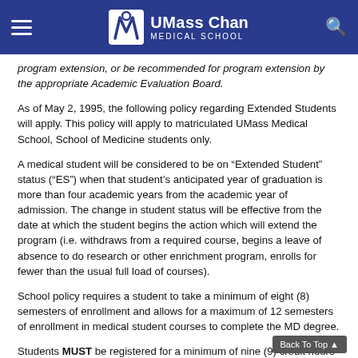UMass Chan Medical School
program extension, or be recommended for program extension by the appropriate Academic Evaluation Board.
As of May 2, 1995, the following policy regarding Extended Students will apply. This policy will apply to matriculated UMass Medical School, School of Medicine students only.
A medical student will be considered to be on “Extended Student” status (“ES”) when that student’s anticipated year of graduation is more than four academic years from the academic year of admission. The change in student status will be effective from the date at which the student begins the action which will extend the program (i.e. withdraws from a required course, begins a leave of absence to do research or other enrichment program, enrolls for fewer than the usual full load of courses).
School policy requires a student to take a minimum of eight (8) semesters of enrollment and allows for a maximum of 12 semesters of enrollment in medical student courses to complete the MD degree.
Students MUST be registered for a minimum of nine (9) credit hours for that semester by two weeks before the start of the semester and must maintain a minimum enrollment of 9 credit hours during the semester in order to maintain active student status (eligibility for course credit,